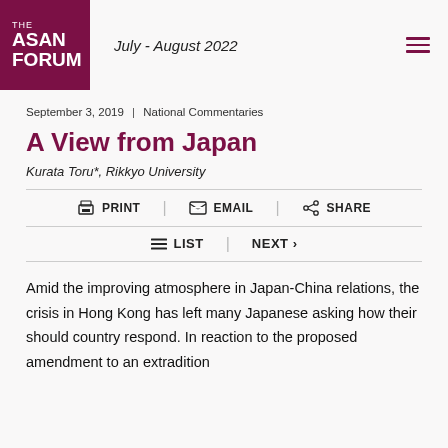THE ASAN FORUM | July - August 2022
September 3, 2019 | National Commentaries
A View from Japan
Kurata Toru*, Rikkyo University
PRINT | EMAIL | SHARE
LIST | NEXT >
Amid the improving atmosphere in Japan-China relations, the crisis in Hong Kong has left many Japanese asking how their should country respond. In reaction to the proposed amendment to an extradition